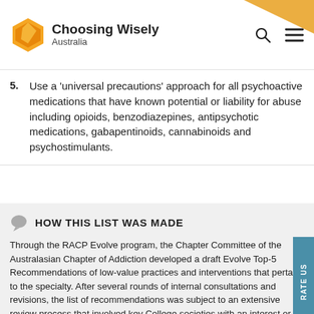Choosing Wisely Australia
5. Use a 'universal precautions' approach for all psychoactive medications that have known potential or liability for abuse including opioids, benzodiazepines, antipsychotic medications, gabapentinoids, cannabinoids and psychostimulants.
HOW THIS LIST WAS MADE
Through the RACP Evolve program, the Chapter Committee of the Australasian Chapter of Addiction developed a draft Evolve Top-5 Recommendations of low-value practices and interventions that pertain to the specialty. After several rounds of internal consultations and revisions, the list of recommendations was subject to an extensive review process that involved key College societies with an interest or professional engagement with addiction medicine.
The list was then consulted with other medical colleges including through Choosing Wisely Australia. The recommendations were also reviewed by the College's Aboriginal and Torres Strait Islander Health Committee to ensure that the list adequately reflects the health needs of Indigenous Australians with substance use